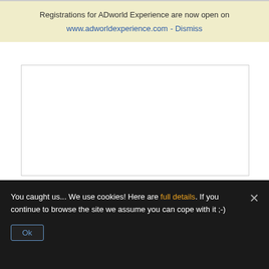Registrations for ADworld Experience are now open on www.adworldexperience.com - Dismiss
[Figure (other): White card image area with bottom chevron divider]
LinkedIn Ads Advanced
€60.00 • €9.99
You caught us... We use cookies! Here are full details. If you continue to browse the site we assume you can cope with it ;-)
Ok